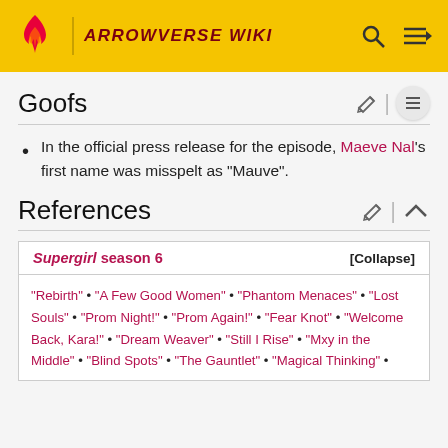ARROWVERSE WIKI
Goofs
In the official press release for the episode, Maeve Nal's first name was misspelt as "Mauve".
References
| Supergirl season 6 | [Collapse] |
| --- | --- |
| "Rebirth" • "A Few Good Women" • "Phantom Menaces" • "Lost Souls" • "Prom Night!" • "Prom Again!" • "Fear Knot" • "Welcome Back, Kara!" • "Dream Weaver" • "Still I Rise" • "Mxy in the Middle" • "Blind Spots" • "The Gauntlet" • "Magical Thinking" • |